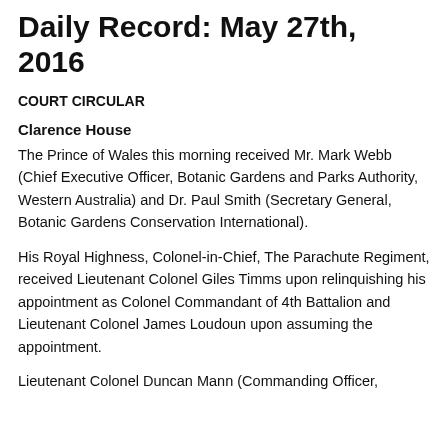Daily Record: May 27th, 2016
COURT CIRCULAR
Clarence House
The Prince of Wales this morning received Mr. Mark Webb (Chief Executive Officer, Botanic Gardens and Parks Authority, Western Australia) and Dr. Paul Smith (Secretary General, Botanic Gardens Conservation International).
His Royal Highness, Colonel-in-Chief, The Parachute Regiment, received Lieutenant Colonel Giles Timms upon relinquishing his appointment as Colonel Commandant of 4th Battalion and Lieutenant Colonel James Loudoun upon assuming the appointment.
Lieutenant Colonel Duncan Mann (Commanding Officer,